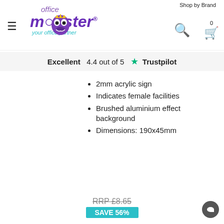Shop by Brand
[Figure (logo): Office Monster logo with purple monster character, tagline 'your office partner']
Excellent  4.4 out of 5  ★ Trustpilot
2mm acrylic sign
Indicates female facilities
Brushed aluminium effect background
Dimensions: 190x45mm
RRP £8.65
SAVE 56%